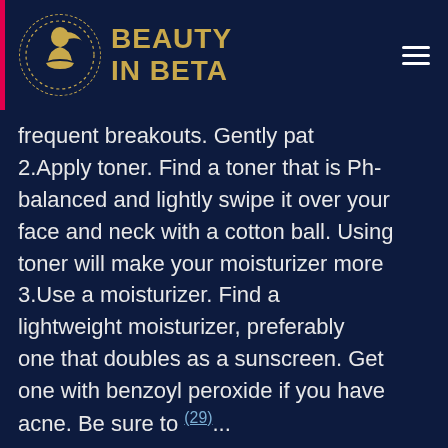[Figure (logo): Beauty In Beta logo with circular dotted border, gold silhouette of woman, gold serif text 'BEAUTY IN BETA' on dark navy background]
frequent breakouts. Gently pat 2.Apply toner. Find a toner that is Ph-balanced and lightly swipe it over your face and neck with a cotton ball. Using toner will make your moisturizer more 3.Use a moisturizer. Find a lightweight moisturizer, preferably one that doubles as a sunscreen. Get one with benzoyl peroxide if you have acne. Be sure to (29)...
Nov 27, 2019 — Pull out your phone,